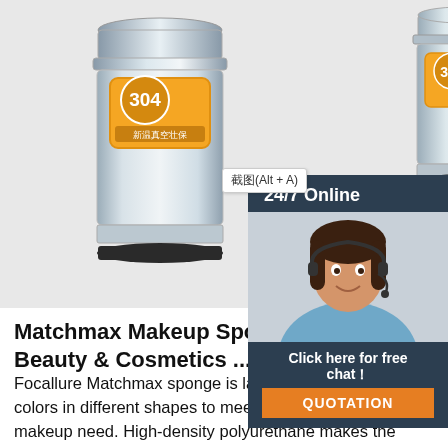[Figure (photo): Two stainless steel insulated thermos containers with orange/gold Chinese labeling sticker showing '304' on the front, displayed on white background. Left container is larger and more prominent. A snipping tool tooltip reads '截图(Alt + A)'.]
[Figure (infographic): Live chat support overlay widget showing '24/7 Online' header on dark navy background, a photo of a smiling female customer service agent with headset, text 'Click here for free chat!', and an orange 'QUOTATION' button.]
Matchmax Makeup Sponge - P... Beauty & Cosmetics ...
Focallure Matchmax sponge is latex fre... includes 8 colors in different shapes to meet your all kind of makeup need. High-density polyurethane makes the sponge grow 1.5x in size when damp and absorbs minimal product, as the key to well blended, airbrushed looks. Dry